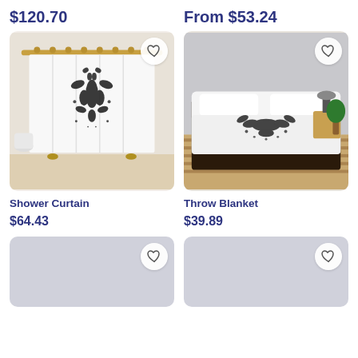$120.70
From $53.24
[Figure (photo): Shower curtain with abstract black ink Rorschach-style print on white, hanging from a gold rod in a bathroom]
[Figure (photo): White throw blanket with abstract black ink Rorschach-style print draped over a bed in a bedroom]
Shower Curtain
$64.43
Throw Blanket
$39.89
[Figure (photo): Gray placeholder product image with heart icon]
[Figure (photo): Gray placeholder product image with heart icon]